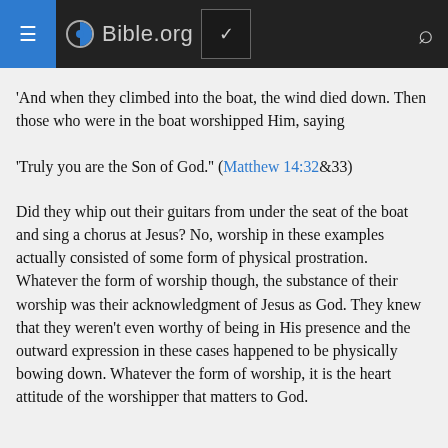Bible.org
'And when they climbed into the boat, the wind died down. Then those who were in the boat worshipped Him, saying 'Truly you are the Son of God.' (Matthew 14:32&33)
Did they whip out their guitars from under the seat of the boat and sing a chorus at Jesus? No, worship in these examples actually consisted of some form of physical prostration. Whatever the form of worship though, the substance of their worship was their acknowledgment of Jesus as God. They knew that they weren't even worthy of being in His presence and the outward expression in these cases happened to be physically bowing down. Whatever the form of worship, it is the heart attitude of the worshipper that matters to God.